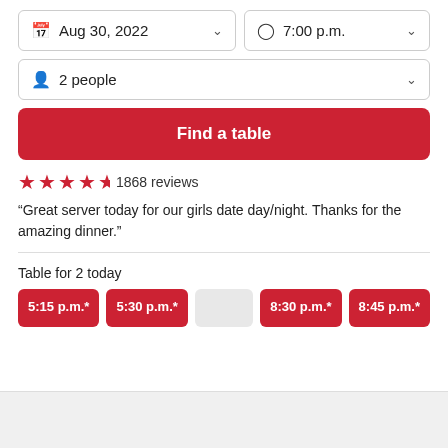Aug 30, 2022
7:00 p.m.
2 people
Find a table
1868 reviews
“Great server today for our girls date day/night. Thanks for the amazing dinner.”
Table for 2 today
5:15 p.m.*
5:30 p.m.*
8:30 p.m.*
8:45 p.m.*